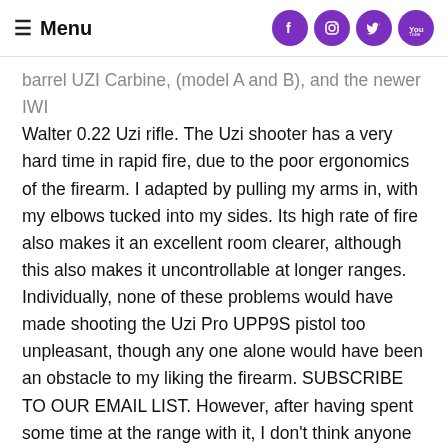Menu
barrel UZI Carbine, (model A and B), and the newer IWI Walter 0.22 Uzi rifle. The Uzi shooter has a very hard time in rapid fire, due to the poor ergonomics of the firearm. I adapted by pulling my arms in, with my elbows tucked into my sides. Its high rate of fire also makes it an excellent room clearer, although this also makes it uncontrollable at longer ranges. Individually, none of these problems would have made shooting the Uzi Pro UPP9S pistol too unpleasant, though any one alone would have been an obstacle to my liking the firearm. SUBSCRIBE TO OUR EMAIL LIST. However, after having spent some time at the range with it, I don't think anyone will be rushing to defend the IWI UZI Pro UPP9S pistol. MSRP of the UPP9S pistol is a substantial $1,109 USD, according to IWI's website. This firearm is massive – much larger than a full-size handgun, and almost two-and-a-half times the weight of an unloaded Glock 17.